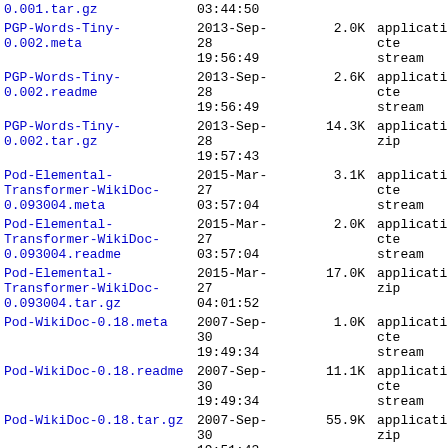| Name | Date | Size | Type |
| --- | --- | --- | --- |
| 0.001.tar.gz | 03:44:50 |  |  |
| PGP-Words-Tiny-0.002.meta | 2013-Sep-28 19:56:49 | 2.0K | application/octet-stream |
| PGP-Words-Tiny-0.002.readme | 2013-Sep-28 19:56:49 | 2.6K | application/octet-stream |
| PGP-Words-Tiny-0.002.tar.gz | 2013-Sep-28 19:57:43 | 14.3K | application/gzip |
| Pod-Elemental-Transformer-WikiDoc-0.093004.meta | 2015-Mar-27 03:57:04 | 3.1K | application/octet-stream |
| Pod-Elemental-Transformer-WikiDoc-0.093004.readme | 2015-Mar-27 03:57:04 | 2.0K | application/octet-stream |
| Pod-Elemental-Transformer-WikiDoc-0.093004.tar.gz | 2015-Mar-27 04:01:52 | 17.0K | application/gzip |
| Pod-WikiDoc-0.18.meta | 2007-Sep-30 19:49:34 | 1.0K | application/octet-stream |
| Pod-WikiDoc-0.18.readme | 2007-Sep-30 19:49:34 | 11.1K | application/octet-stream |
| Pod-WikiDoc-0.18.tar.gz | 2007-Sep-30 19:51:43 | 55.9K | application/gzip |
| Pod-WikiDoc-0.19.meta | 2012-Feb-23 18:19:42 | 1.0K | application/octet-stream |
|  | 2012-Feb- |  | application/octet-stream |